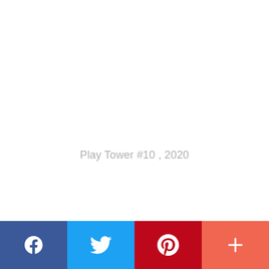Play Tower #10 , 2020
[Figure (other): Social share bar with Facebook, Twitter, Pinterest, and More (+) buttons in blue, light blue, red, and coral colors respectively.]